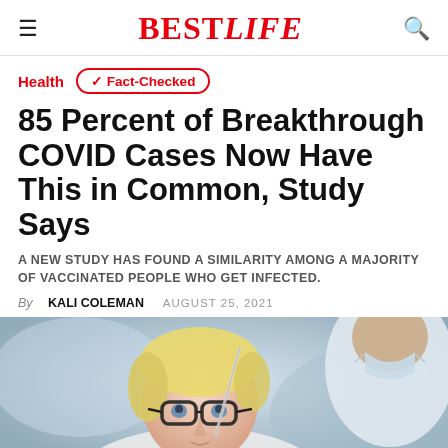BESTLIFE
Health  ✓ Fact-Checked
85 Percent of Breakthrough COVID Cases Now Have This in Common, Study Says
A NEW STUDY HAS FOUND A SIMILARITY AMONG A MAJORITY OF VACCINATED PEOPLE WHO GET INFECTED.
By KALI COLEMAN   AUGUST 25, 2021
[Figure (photo): Close-up photo of a person with short blonde hair and glasses looking upward, being examined by a healthcare worker in a mask who is partially visible from behind]